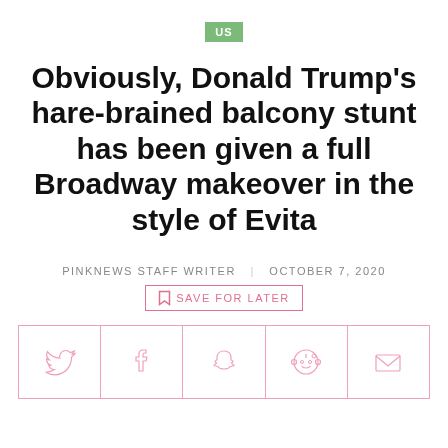US
Obviously, Donald Trump’s hare-brained balcony stunt has been given a full Broadway makeover in the style of Evita
PINKNEWS STAFF WRITER | OCTOBER 7, 2020
SAVE FOR LATER
[Figure (infographic): Social share buttons: Twitter, Facebook, Snapchat, Reddit, Email]